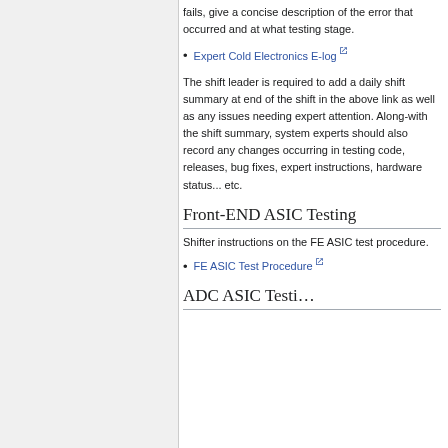fails, give a concise description of the error that occurred and at what testing stage.
Expert Cold Electronics E-log
The shift leader is required to add a daily shift summary at end of the shift in the above link as well as any issues needing expert attention. Along-with the shift summary, system experts should also record any changes occurring in testing code, releases, bug fixes, expert instructions, hardware status... etc.
Front-END ASIC Testing
Shifter instructions on the FE ASIC test procedure.
FE ASIC Test Procedure
ADC ASIC Testing